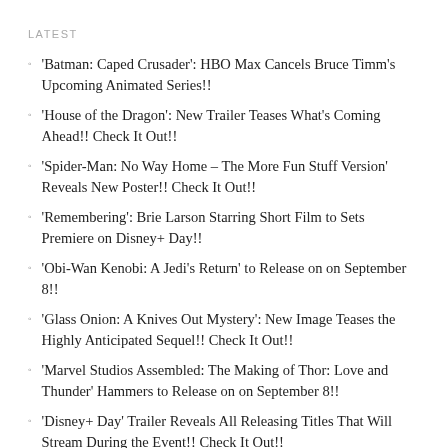LATEST
'Batman: Caped Crusader': HBO Max Cancels Bruce Timm's Upcoming Animated Series!!
'House of the Dragon': New Trailer Teases What's Coming Ahead!! Check It Out!!
'Spider-Man: No Way Home – The More Fun Stuff Version' Reveals New Poster!! Check It Out!!
'Remembering': Brie Larson Starring Short Film to Sets Premiere on Disney+ Day!!
'Obi-Wan Kenobi: A Jedi's Return' to Release on on September 8!!
'Glass Onion: A Knives Out Mystery': New Image Teases the Highly Anticipated Sequel!! Check It Out!!
'Marvel Studios Assembled: The Making of Thor: Love and Thunder' Hammers to Release on on September 8!!
'Disney+ Day' Trailer Reveals All Releasing Titles That Will Stream During the Event!! Check It Out!!